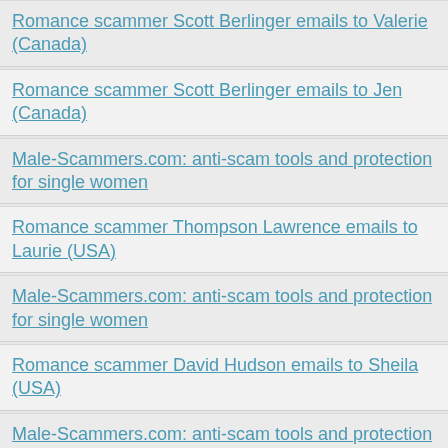Romance scammer Scott Berlinger emails to Valerie (Canada)
Romance scammer Scott Berlinger emails to Jen (Canada)
Male-Scammers.com: anti-scam tools and protection for single women
Romance scammer Thompson Lawrence emails to Laurie (USA)
Male-Scammers.com: anti-scam tools and protection for single women
Romance scammer David Hudson emails to Sheila (USA)
Male-Scammers.com: anti-scam tools and protection for single women
Romance scammer Ashton Purple emails to Tami (USA)
Romance scammer Ashton Purple emails to Esther (USA)
Romance scammer Ashton Purple emails to Phoebe (USA)
Male-Scammers.com: anti-scam tools and protection for single women
Romance scammer John Gomes emails to Mary (USA)
Romance scammer John Gomes emails to Liza (USA)